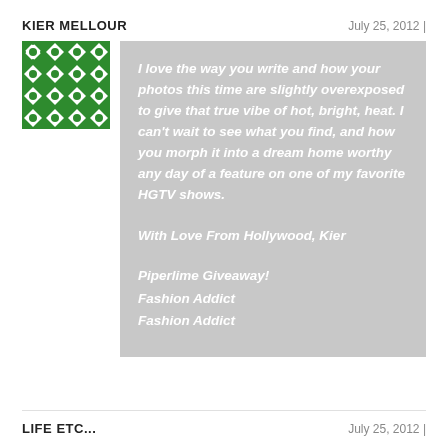KIER MELLOUR
July 25, 2012 |
[Figure (illustration): Green and white geometric/floral tile pattern avatar image]
I love the way you write and how your photos this time are slightly overexposed to give that true vibe of hot, bright, heat. I can't wait to see what you find, and how you morph it into a dream home worthy any day of a feature on one of my favorite HGTV shows.

With Love From Hollywood, Kier

Piperlime Giveaway!
Fashion Addict
Fashion Addict
LIFE ETC...
July 25, 2012 |